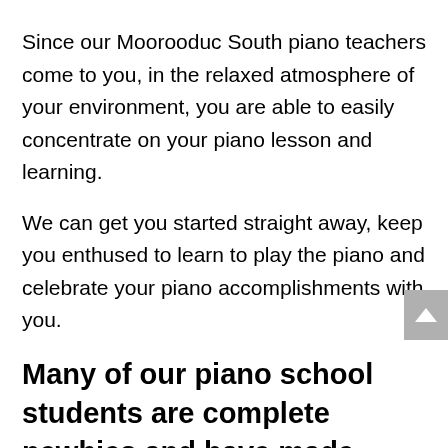music classes into your hectic lifestyle.
Since our Moorooduc South piano teachers come to you, in the relaxed atmosphere of your environment, you are able to easily concentrate on your piano lesson and learning.
We can get you started straight away, keep you enthused to learn to play the piano and celebrate your piano accomplishments with you.
Many of our piano school students are complete newbies and have made tremendous progress just within the 1st year